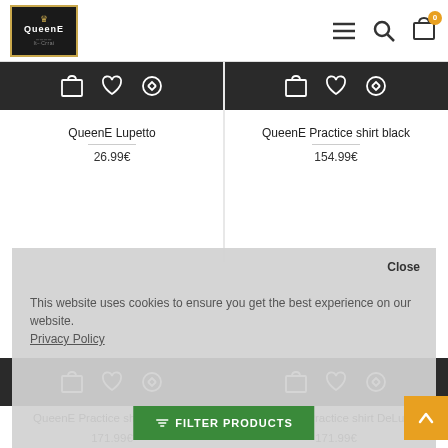[Figure (screenshot): QueenE website header with logo, hamburger menu, search and cart icons]
[Figure (screenshot): Product action bar with bag, heart, and compare icons for QueenE Lupetto]
QueenE Lupetto
26.99€
[Figure (screenshot): Product action bar with bag, heart, and compare icons for QueenE Practice shirt black]
QueenE Practice shirt black
154.99€
[Figure (screenshot): Cookie consent overlay with close button and privacy policy link]
[Figure (screenshot): Product action bar with bag, heart, and compare icons for QueenE Practice shirt DeLux...]
QueenE Practice shirt DeLux...
171.99€
[Figure (screenshot): Product action bar with bag, heart, and compare icons for QueenE Practice shirt DeLux]
QueenE Practice shirt DeLux
171.99€
FILTER PRODUCTS
[Figure (screenshot): Orange scroll-to-top arrow button]